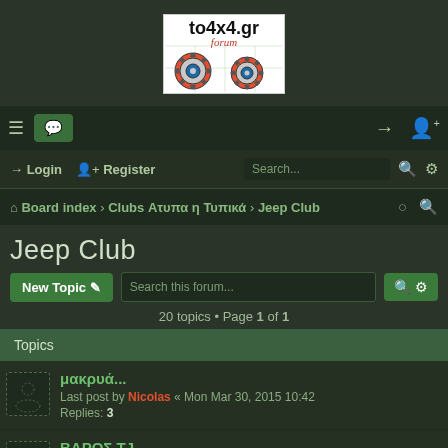[Figure (logo): to4x4.gr forum logo with two gear icons on white background]
≡ 💬 Login Register Search...
Board index > Clubs Ατυπα η Τυπικά > Jeep Club
Jeep Club
New Topic  Search this forum...  20 topics • Page 1 of 1
Topics
μακρυά...
Last post by Nicolas « Mon Mar 30, 2015 10:42
Replies: 3
ΒΑΡΟΣ TJ
Last post by kacos « Fri Feb 25, 2011 03:57
Replies: 4